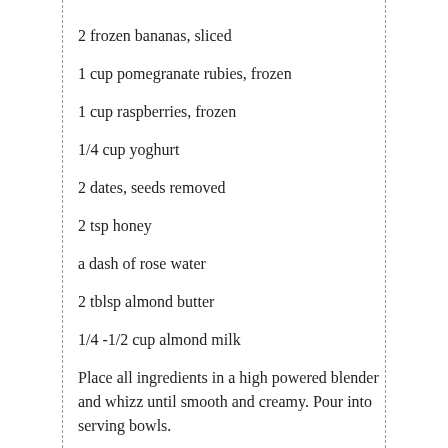2 frozen bananas, sliced
1 cup pomegranate rubies, frozen
1 cup raspberries, frozen
1/4 cup yoghurt
2 dates, seeds removed
2 tsp honey
a dash of rose water
2 tblsp almond butter
1/4 -1/2 cup almond milk
Place all ingredients in a high powered blender and whizz until smooth and creamy. Pour into serving bowls.
Serve immediately topped with sliced figs, cacao